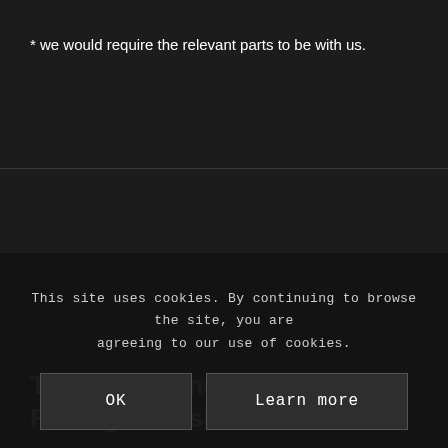* we would require the relevant parts to be with us.
Triumph Thunderbird 1600 Rolling Chassis
[Figure (photo): Partial view of a Triumph Thunderbird 1600 motorcycle, dark background]
This site uses cookies. By continuing to browse the site, you are agreeing to our use of cookies.
OK
Learn more